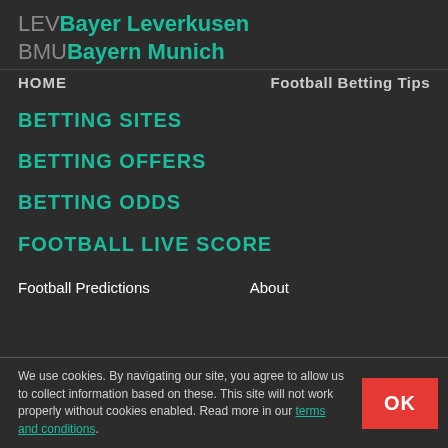LEV Bayer Leverkusen BMU Bayern Munich
HOME
Football Betting Tips
BETTING SITES
BETTING OFFERS
BETTING ODDS
FOOTBALL LIVE SCORE
Football Predictions
About
We use cookies. By navigating our site, you agree to allow us to collect information based on these. This site will not work properly without cookies enabled. Read more in our terms and conditions.